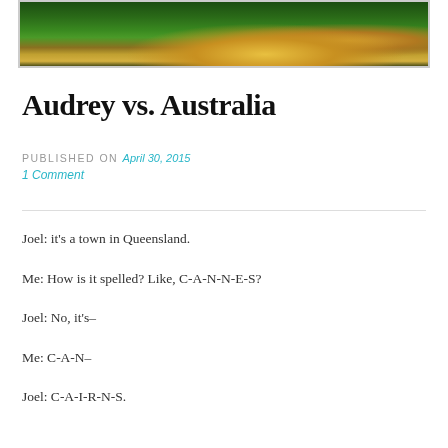[Figure (photo): Header panoramic photo showing an illuminated town/cityscape at night with green trees and warm lights]
Audrey vs. Australia
PUBLISHED ON April 30, 2015
1 Comment
Joel: it's a town in Queensland.
Me:  How is it spelled? Like, C-A-N-N-E-S?
Joel: No, it's–
Me: C-A-N–
Joel: C-A-I-R-N-S.